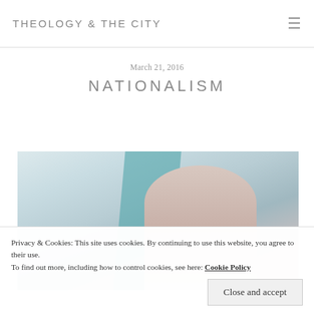THEOLOGY & THE CITY
March 21, 2016
NATIONALISM
[Figure (photo): Outdoor photo of a young woman with blonde hair in an updo, wearing a pink jacket, standing in front of bare winter trees and a teal/green banner or flag. Wintry, muted color palette.]
Privacy & Cookies: This site uses cookies. By continuing to use this website, you agree to their use.
To find out more, including how to control cookies, see here: Cookie Policy
Close and accept